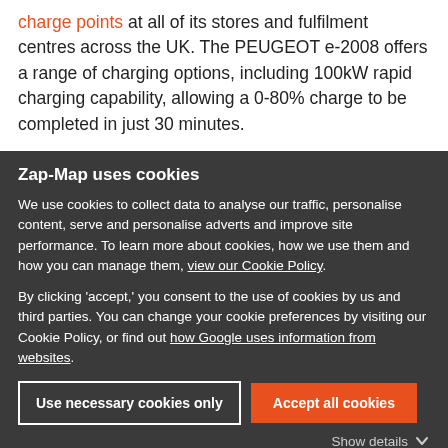charge points at all of its stores and fulfilment centres across the UK. The PEUGEOT e-2008 offers a range of charging options, including 100kW rapid charging capability, allowing a 0-80% charge to be completed in just 30 minutes.
Zap-Map uses cookies
We use cookies to collect data to analyse our traffic, personalise content, serve and personalise adverts and improve site performance. To learn more about cookies, how we use them and how you can manage them, view our Cookie Policy.
By clicking 'accept,' you consent to the use of cookies by us and third parties. You can change your cookie preferences by visiting our Cookie Policy, or find out how Google uses information from websites.
Use necessary cookies only | Accept all cookies
Show details